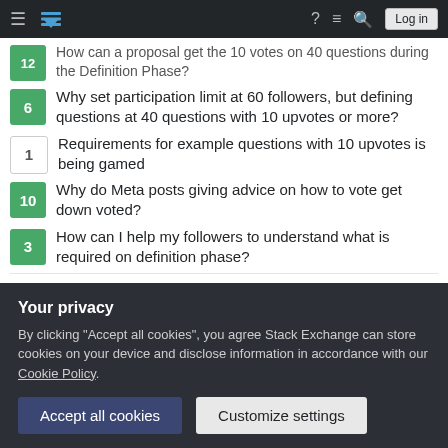Stack Exchange navigation bar with hamburger, logo, help, chat, search, and Log in button
12  How can a proposal get the 10 votes on 40 questions during the Definition Phase?
6  Why set participation limit at 60 followers, but defining questions at 40 questions with 10 upvotes or more?
1  Requirements for example questions with 10 upvotes is being gamed
10  Why do Meta posts giving advice on how to vote get down voted?
3  How can I help my followers to understand what is required on definition phase?
Hot Network Questions
[Figure (screenshot): Privacy consent banner overlay with dark background, title 'Your privacy', explanatory text about cookies, and two buttons: 'Accept all cookies' and 'Customize settings']
rare?